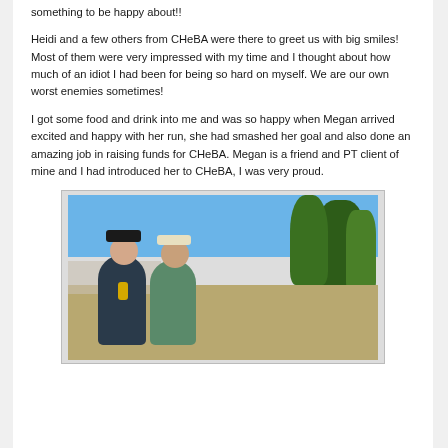something to be happy about!!
Heidi and a few others from CHeBA were there to greet us with big smiles! Most of them were very impressed with my time and I thought about how much of an idiot I had been for being so hard on myself. We are our own worst enemies sometimes!
I got some food and drink into me and was so happy when Megan arrived excited and happy with her run, she had smashed her goal and also done an amazing job in raising funds for CHeBA. Megan is a friend and PT client of mine and I had introduced her to CHeBA, I was very proud.
[Figure (photo): Two women posing together outdoors after a run event, with trees and blue sky in the background. One woman is wearing a black cap and has a medal.]